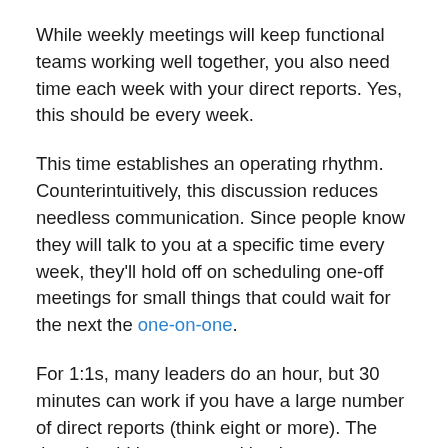While weekly meetings will keep functional teams working well together, you also need time each week with your direct reports. Yes, this should be every week.
This time establishes an operating rhythm. Counterintuitively, this discussion reduces needless communication. Since people know they will talk to you at a specific time every week, they'll hold off on scheduling one-off meetings for small things that could wait for the next the one-on-one.
For 1:1s, many leaders do an hour, but 30 minutes can work if you have a large number of direct reports (think eight or more). The time should be structured by the team members, and they should be in charge of setting the agenda. Your job is to